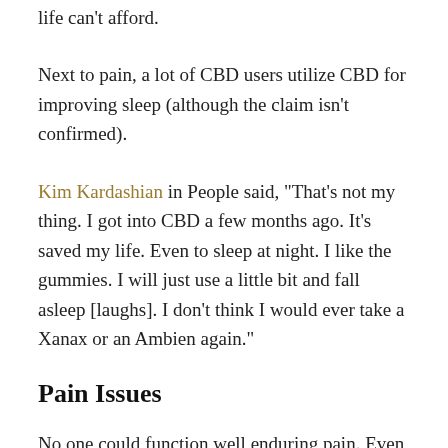life can't afford.
Next to pain, a lot of CBD users utilize CBD for improving sleep (although the claim isn't confirmed).
Kim Kardashian in People said, “That’s not my thing. I got into CBD a few months ago. It’s saved my life. Even to sleep at night. I like the gummies. I will just use a little bit and fall asleep [laughs]. I don’t think I would ever take a Xanax or an Ambien again.”
Pain Issues
No one could function well enduring pain. Even Former MLB Player David Wells, who was once addicted to